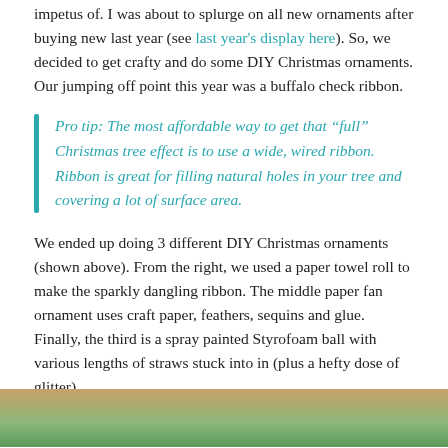impetus of. I was about to splurge on all new ornaments after buying new last year (see last year's display here). So, we decided to get crafty and do some DIY Christmas ornaments. Our jumping off point this year was a buffalo check ribbon.
Pro tip: The most affordable way to get that “full” Christmas tree effect is to use a wide, wired ribbon. Ribbon is great for filling natural holes in your tree and covering a lot of surface area.
We ended up doing 3 different DIY Christmas ornaments (shown above). From the right, we used a paper towel roll to make the sparkly dangling ribbon. The middle paper fan ornament uses craft paper, feathers, sequins and glue. Finally, the third is a spray painted Styrofoam ball with various lengths of straws stuck into in (plus a hefty dose of glitter).
Ready to get started?
[Figure (photo): Bottom portion of a photo showing pine tree branches with warm tones at the top]